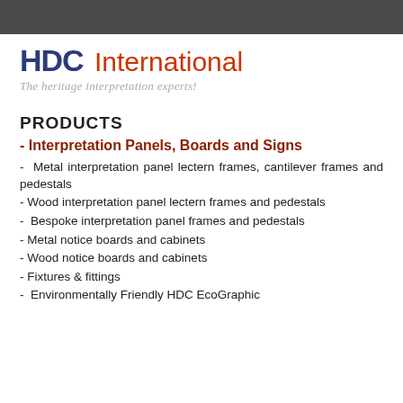[Figure (logo): HDC International logo with tagline 'The heritage interpretation experts!']
PRODUCTS
- Interpretation Panels, Boards and Signs
- Metal interpretation panel lectern frames, cantilever frames and pedestals
- Wood interpretation panel lectern frames and pedestals
- Bespoke interpretation panel frames and pedestals
- Metal notice boards and cabinets
- Wood notice boards and cabinets
- Fixtures & fittings
- Environmentally Friendly HDC EcoGraphic